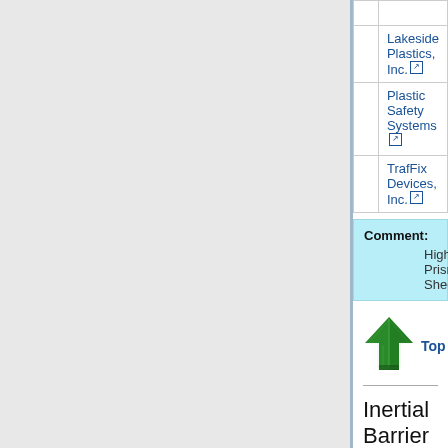| Notes | Manufacturer |
| --- | --- |
|  | Lakeside Plastics, Inc. |
|  | Plastic Safety Systems |
|  | TrafFix Devices, Inc. |
Comment: High Prismatic Sheeting
[Figure (illustration): Green upward arrow icon]
Top
Inertial Barrier Systems
Sand Barrels
| Notes | Manufacturer |
| --- | --- |
|  |  |